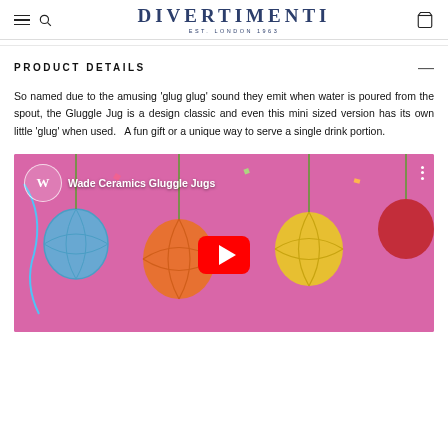DIVERTIMENTI EST. LONDON 1963
PRODUCT DETAILS
So named due to the amusing 'glug glug' sound they emit when water is poured from the spout, the Gluggle Jug is a design classic and even this mini sized version has its own little 'glug' when used.   A fun gift or a unique way to serve a single drink portion.
[Figure (screenshot): YouTube video thumbnail showing 'Wade Ceramics Gluggle Jugs' with colorful honeycomb ball decorations on a pink background and a YouTube play button in the center.]